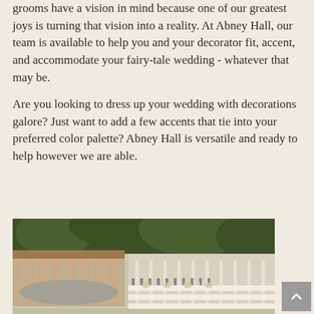grooms have a vision in mind because one of our greatest joys is turning that vision into a reality. At Abney Hall, our team is available to help you and your decorator fit, accent, and accommodate your fairy-tale wedding - whatever that may be.
Are you looking to dress up your wedding with decorations galore? Just want to add a few accents that tie into your preferred color palette? Abney Hall is versatile and ready to help however we are able.
[Figure (photo): Outdoor wedding reception at Abney Hall showing long banquet tables set with white linens, chairs, and floral centerpieces on a patio area, with a white columned building and lush green trees in the background.]